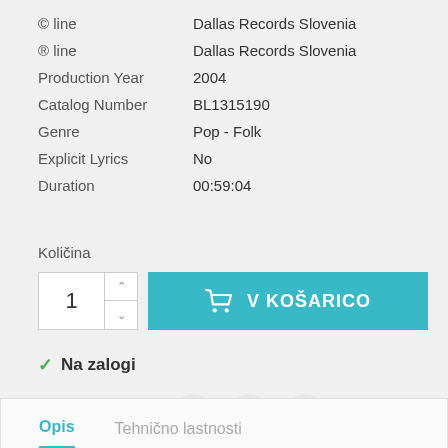| © line | Dallas Records Slovenia |
| ® line | Dallas Records Slovenia |
| Production Year | 2004 |
| Catalog Number | BL1315190 |
| Genre | Pop - Folk |
| Explicit Lyrics | No |
| Duration | 00:59:04 |
Količina
1  V KOŠARICO
Na zalogi
Daj v skupno rabo
Opis   Tehnično lastnosti